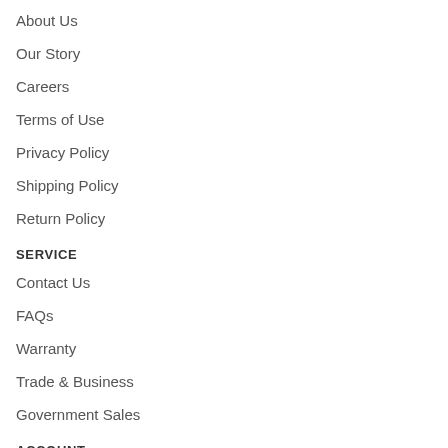About Us
Our Story
Careers
Terms of Use
Privacy Policy
Shipping Policy
Return Policy
SERVICE
Contact Us
FAQs
Warranty
Trade & Business
Government Sales
ACCOUNT
Account Dashboard